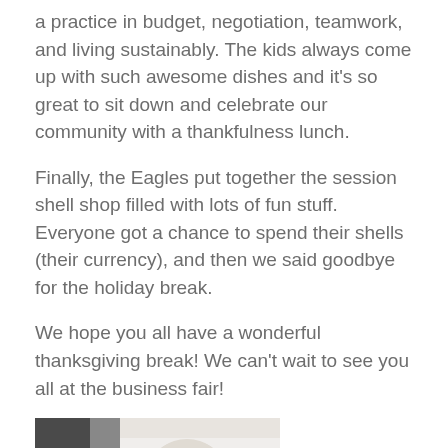a practice in budget, negotiation, teamwork, and living sustainably. The kids always come up with such awesome dishes and it’s so great to sit down and celebrate our community with a thankfulness lunch.
Finally, the Eagles put together the session shell shop filled with lots of fun stuff. Everyone got a chance to spend their shells (their currency), and then we said goodbye for the holiday break.
We hope you all have a wonderful thanksgiving break! We can’t wait to see you all at the business fair!
[Figure (photo): Photo of several bowls of fruits and vegetables on a white surface, including a bowl of red berries/pomegranate seeds, a bowl of grapes, a bowl of lemons/limes, green herbs, and a white bowl.]